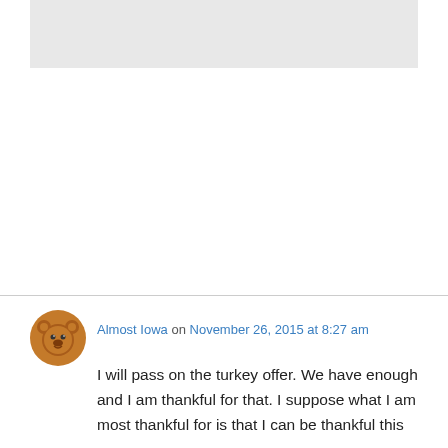[Figure (other): Gray rectangle placeholder image at top of page]
Almost Iowa on November 26, 2015 at 8:27 am
I will pass on the turkey offer. We have enough and I am thankful for that. I suppose what I am most thankful for is that I can be thankful this year.
Privacy & Cookies: This site uses cookies. By continuing to use this website, you agree to their use.
To find out more, including how to control cookies, see here: Cookie Policy